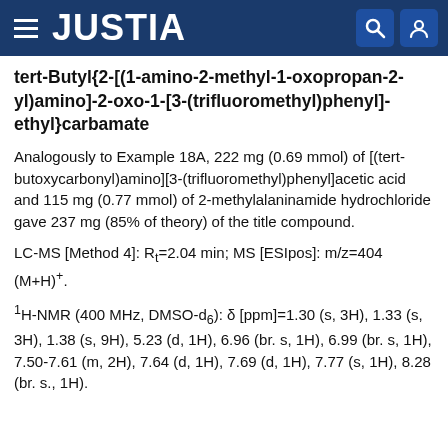JUSTIA
tert-Butyl{2-[(1-amino-2-methyl-1-oxopropan-2-yl)amino]-2-oxo-1-[3-(trifluoromethyl)phenyl]-ethyl}carbamate
Analogously to Example 18A, 222 mg (0.69 mmol) of [(tert-butoxycarbonyl)amino][3-(trifluoromethyl)phenyl]acetic acid and 115 mg (0.77 mmol) of 2-methylalaninamide hydrochloride gave 237 mg (85% of theory) of the title compound.
LC-MS [Method 4]: Rt=2.04 min; MS [ESIpos]: m/z=404 (M+H)+.
1H-NMR (400 MHz, DMSO-d6): δ [ppm]=1.30 (s, 3H), 1.33 (s, 3H), 1.38 (s, 9H), 5.23 (d, 1H), 6.96 (br. s, 1H), 6.99 (br. s, 1H), 7.50-7.61 (m, 2H), 7.64 (d, 1H), 7.69 (d, 1H), 7.77 (s, 1H), 8.28 (br. s., 1H).